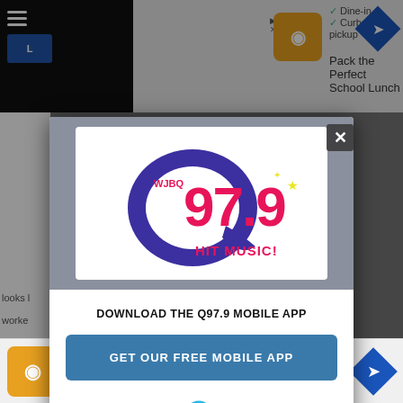[Figure (screenshot): Screenshot of a mobile browser showing a modal popup for Q97.9 radio station. Background shows a webpage with Google ad. Modal has Q97.9 WJBQ Hit Music logo at top, text 'DOWNLOAD THE Q97.9 MOBILE APP', a blue button 'GET OUR FREE MOBILE APP', and 'Also listen on: amazon alexa' text with Alexa icon. A close X button appears top right of modal. Bottom shows another ad banner with Dine-in and Curbside pickup checkmarks.]